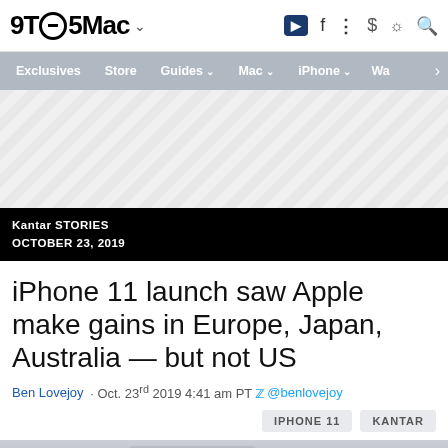9TO5Mac
Exclusives | Store | Guides | Mac | iPhone | Wa
[Figure (other): Advertisement placeholder with diagonal hatching pattern]
Kantar STORIES
OCTOBER 23, 2019
iPhone 11 launch saw Apple make gains in Europe, Japan, Australia — but not US
Ben Lovejoy  · Oct. 23rd 2019 4:41 am PT  @benlovejoy
IPHONE 11   KANTAR